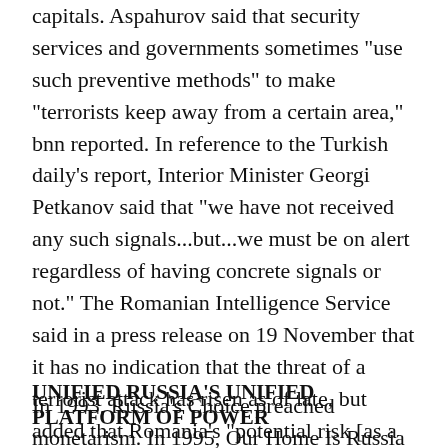capitals. Aspahurov said that security services and governments sometimes "use such preventive methods" to make "terrorists keep away from a certain area," bnn reported. In reference to the Turkish daily's report, Interior Minister Georgi Petkanov said that "we have not received any such signals...but...we must be on alert regardless of having concrete signals or not." The Romanian Intelligence Service said in a press release on 19 November that it has no indication that the threat of a terrorist attack has risen as of late, but added that Romania's "potential risk [as a target] derives from its active involvement in the war against international terrorism," Mediafax reported. MS
UNIFIED RUSSIA'S UNIFIED PLATFORM OF POWER
In 1993, Russia's Choice preached monetarism. In 1995, Our Home Is Russia promised stability. In